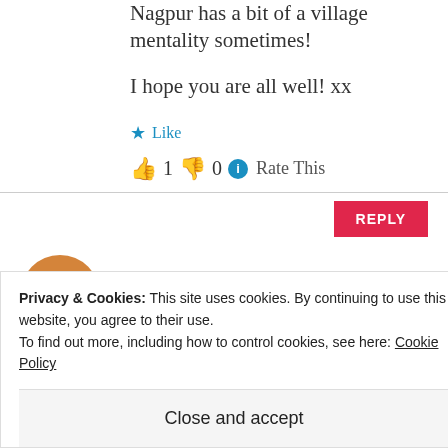Nagpur has a bit of a village mentality sometimes!
I hope you are all well! xx
★ Like
👍 1 👎 0 ℹ Rate This
REPLY
Amanda
Privacy & Cookies: This site uses cookies. By continuing to use this website, you agree to their use. To find out more, including how to control cookies, see here: Cookie Policy
Close and accept